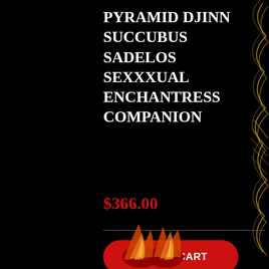PYRAMID DJINN SUCCUBUS SADELOS SEXXXUAL ENCHANTRESS COMPANION
$366.00
ADD TO CART
Share this item: Tweet Save Like 0
[Figure (illustration): Decorative golden/yellow swirling lines on black background on right side of page]
[Figure (illustration): Flame or fire-colored decorative figure at bottom center with orange, red, and yellow swirling shapes]